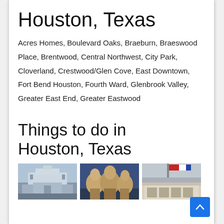Houston, Texas
Acres Homes, Boulevard Oaks, Braeburn, Braeswood Place, Brentwood, Central Northwest, City Park, Cloverland, Crestwood/Glen Cove, East Downtown, Fort Bend Houston, Fourth Ward, Glenbrook Valley, Greater East End, Greater Eastwood
Things to do in Houston, Texas
[Figure (photo): Three thumbnail photos of Houston attractions]
[Figure (other): Back to top button (blue arrow)]